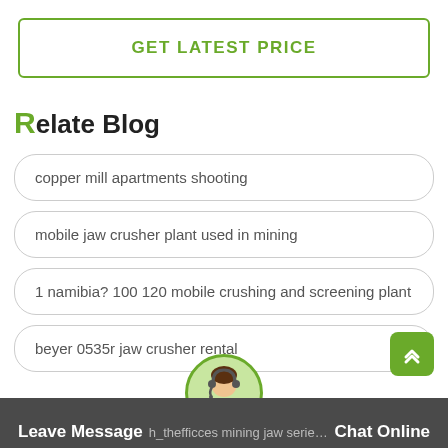GET LATEST PRICE
Relate Blog
copper mill apartments shooting
mobile jaw crusher plant used in mining
1 namibia? 100 120 mobile crushing and screening plant
beyer 0535r jaw crusher rental
Leave Message   h_thefficces mining jaw series mobile Chat Online ...